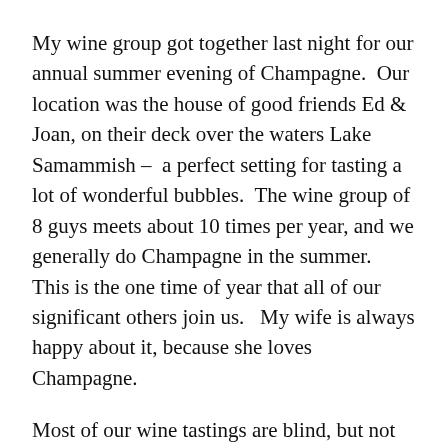My wine group got together last night for our annual summer evening of Champagne.  Our location was the house of good friends Ed & Joan, on their deck over the waters Lake Samammish –  a perfect setting for tasting a lot of wonderful bubbles.  The wine group of 8 guys meets about 10 times per year, and we generally do Champagne in the summer.  This is the one time of year that all of our significant others join us.   My wife is always happy about it, because she loves Champagne.
Most of our wine tastings are blind, but not this time.  Ed and Joan made a wonderful flank steak with green beans cooked in some sort of bacon fat